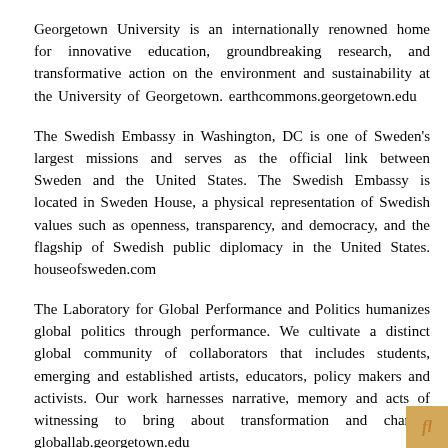Georgetown University is an internationally renowned home for innovative education, groundbreaking research, and transformative action on the environment and sustainability at the University of Georgetown. earthcommons.georgetown.edu
The Swedish Embassy in Washington, DC is one of Sweden's largest missions and serves as the official link between Sweden and the United States. The Swedish Embassy is located in Sweden House, a physical representation of Swedish values such as openness, transparency, and democracy, and the flagship of Swedish public diplomacy in the United States. houseofsweden.com
The Laboratory for Global Performance and Politics humanizes global politics through performance. We cultivate a distinct global community of collaborators that includes students, emerging and established artists, educators, policy makers and activists. Our work harnesses narrative, memory and acts of witnessing to bring about transformation and change. globallab.georgetown.edu